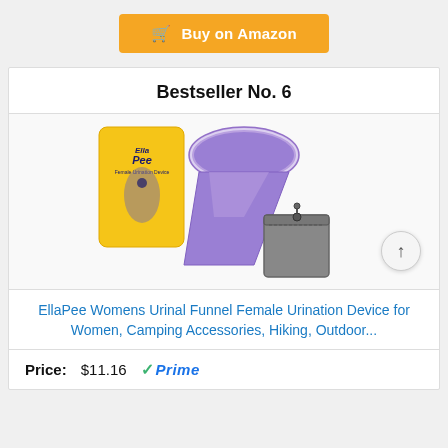[Figure (other): Orange 'Buy on Amazon' button with shopping cart icon]
Bestseller No. 6
[Figure (photo): Product photo of EllaPee purple urinal funnel device with packaging and gray zipper pouch]
EllaPee Womens Urinal Funnel Female Urination Device for Women, Camping Accessories, Hiking, Outdoor...
Price: $11.16 Prime